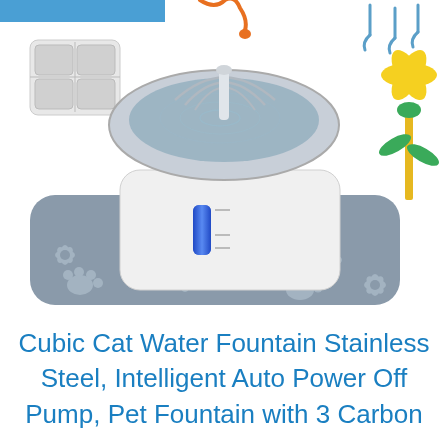[Figure (photo): Product photo of a Cubic Cat Water Fountain with stainless steel top basin, white body with blue LED indicator, sitting on a gray silicone mat with white flower/paw print patterns. Additional accessories shown: filter pads (top left), orange cable (top center), small hooks (top right), and a yellow flower-shaped fountain nozzle (right side).]
Cubic Cat Water Fountain Stainless Steel, Intelligent Auto Power Off Pump, Pet Fountain with 3 Carbon